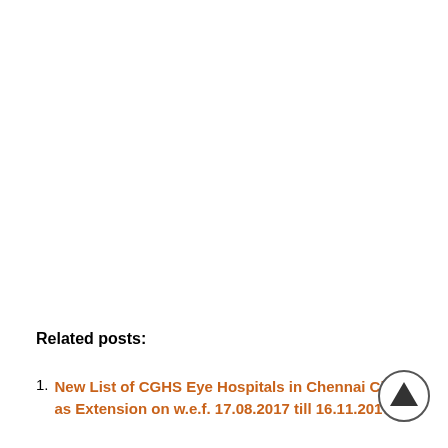Related posts:
New List of CGHS Eye Hospitals in Chennai City as Extension on w.e.f. 17.08.2017 till 16.11.2017